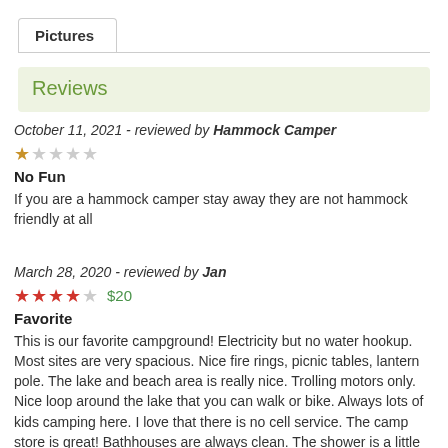Pictures
Reviews
October 11, 2021 - reviewed by Hammock Camper
No Fun
If you are a hammock camper stay away they are not hammock friendly at all
March 28, 2020 - reviewed by Jan
$20
Favorite
This is our favorite campground! Electricity but no water hookup. Most sites are very spacious. Nice fire rings, picnic tables, lantern pole. The lake and beach area is really nice. Trolling motors only. Nice loop around the lake that you can walk or bike. Always lots of kids camping here. I love that there is no cell service. The camp store is great! Bathhouses are always clean. The shower is a little annoying bc you have